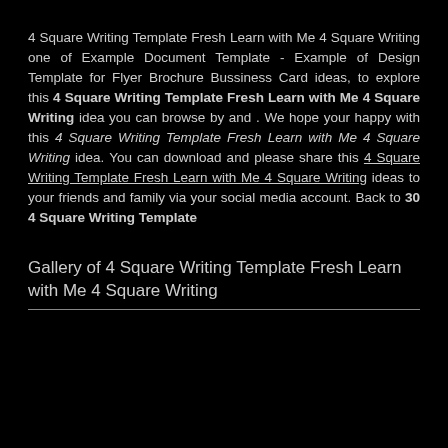4 Square Writing Template Fresh Learn with Me 4 Square Writing one of Example Document Template - Example of Design Template for Flyer Brochure Bussiness Card ideas, to explore this 4 Square Writing Template Fresh Learn with Me 4 Square Writing idea you can browse by and . We hope your happy with this 4 Square Writing Template Fresh Learn with Me 4 Square Writing idea. You can download and please share this 4 Square Writing Template Fresh Learn with Me 4 Square Writing ideas to your friends and family via your social media account. Back to 30 4 Square Writing Template
Gallery of 4 Square Writing Template Fresh Learn with Me 4 Square Writing